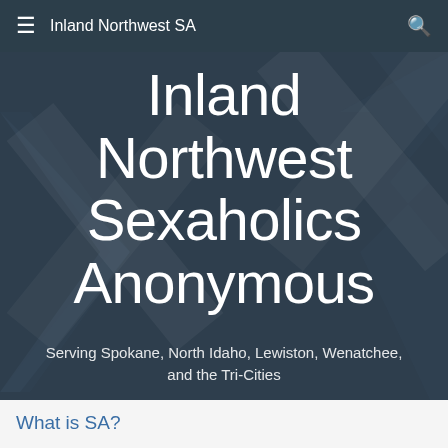Inland Northwest SA
Inland Northwest Sexaholics Anonymous
Serving Spokane, North Idaho, Lewiston, Wenatchee, and the Tri-Cities
What is SA?